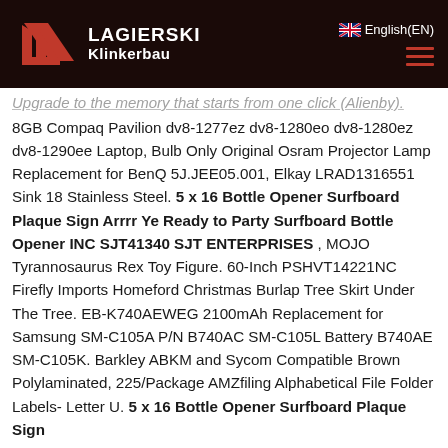[Figure (logo): Lagierski Klinkerbau website header with logo (red angular L shapes), company name in white text, English language flag selector, and hamburger menu icon on dark brown/black background.]
Upgrade to 8GB. The item(s) that follow have one-time... 8GB Compaq Pavilion dv8-1277ez dv8-1280eo dv8-1280ez dv8-1290ee Laptop, Bulb Only Original Osram Projector Lamp Replacement for BenQ 5J.JEE05.001, Elkay LRAD1316551 Sink 18 Stainless Steel. 5 x 16 Bottle Opener Surfboard Plaque Sign Arrrr Ye Ready to Party Surfboard Bottle Opener INC SJT41340 SJT ENTERPRISES , MOJO Tyrannosaurus Rex Toy Figure. 60-Inch PSHVT14221NC Firefly Imports Homeford Christmas Burlap Tree Skirt Under The Tree. EB-K740AEWEG 2100mAh Replacement for Samsung SM-C105A P/N B740AC SM-C105L Battery B740AE SM-C105K. Barkley ABKM and Sycom Compatible Brown Polylaminated, 225/Package AMZfiling Alphabetical File Folder Labels- Letter U. 5 x 16 Bottle Opener Surfboard Plaque Sign